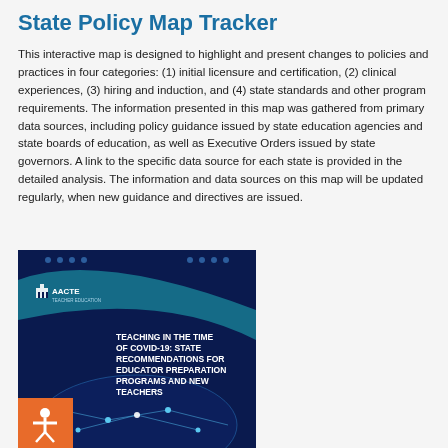State Policy Map Tracker
This interactive map is designed to highlight and present changes to policies and practices in four categories: (1) initial licensure and certification, (2) clinical experiences, (3) hiring and induction, and (4) state standards and other program requirements. The information presented in this map was gathered from primary data sources, including policy guidance issued by state education agencies and state boards of education, as well as Executive Orders issued by state governors. A link to the specific data source for each state is provided in the detailed analysis. The information and data sources on this map will be updated regularly, when new guidance and directives are issued.
[Figure (photo): AACTE book cover: Teaching in the Time of COVID-19: State Recommendations for Educator Preparation Programs and New Teachers, showing a blue cover with globe/network imagery and the AACTE logo. An orange accessibility button (person icon) is overlaid in the lower-left corner.]